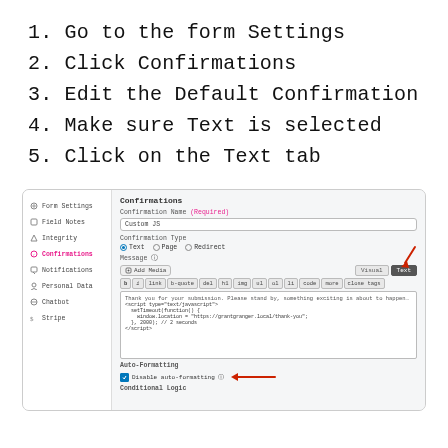1. Go to the form Settings
2. Click Confirmations
3. Edit the Default Confirmation
4. Make sure Text is selected
5. Click on the Text tab
[Figure (screenshot): Screenshot of a form settings UI showing Confirmations panel with Confirmation Name field (Custom JS), Confirmation Type (Text selected), Message area with Add Media button, Visual and Text tabs (Text tab highlighted with red arrow), formatting toolbar, code editor containing script code, Auto-Formatting section with Disable auto-formatting checkbox (checked, with red arrow pointing to it), and Conditional Logic section at bottom. Left sidebar shows Form Settings, Field Notes, Integrity, Confirmations (active), Notifications, Personal Data, Chatbot, Stripe.]